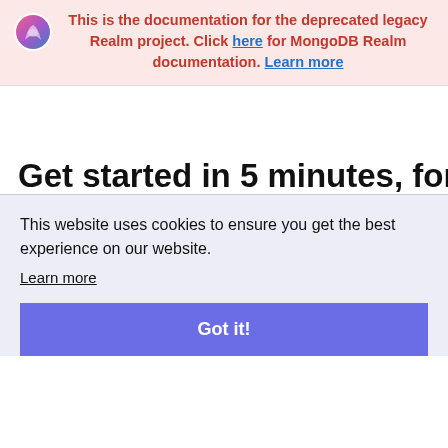This is the documentation for the deprecated legacy Realm project. Click here for MongoDB Realm documentation. Learn more
Get started in 5 minutes, for free
This website uses cookies to ensure you get the best experience on our website.
Learn more
Got it!